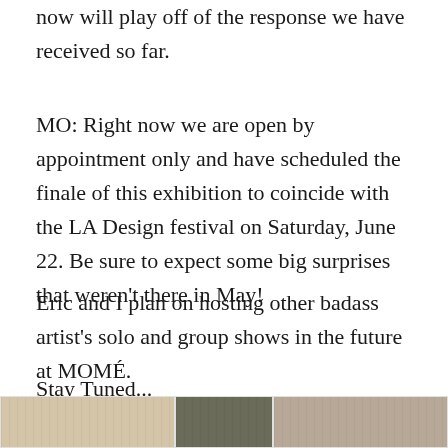now will play off of the response we have received so far.
MO: Right now we are open by appointment only and have scheduled the finale of this exhibition to coincide with the LA Design festival on Saturday, June 22. Be sure to expect some big surprises that weren't there in May!
Eric and I plan on hosting other badass artist's solo and group shows in the future at MOMÉ.
Stay Tuned...
[Figure (photo): Three small thumbnail photos in a horizontal row at the bottom of the page]